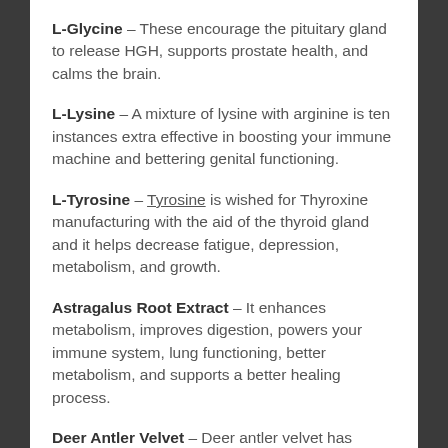L-Glycine – These encourage the pituitary gland to release HGH, supports prostate health, and calms the brain.
L-Lysine – A mixture of lysine with arginine is ten instances extra effective in boosting your immune machine and bettering genital functioning.
L-Tyrosine – Tyrosine is wished for Thyroxine manufacturing with the aid of the thyroid gland and it helps decrease fatigue, depression, metabolism, and growth.
Astragalus Root Extract – It enhances metabolism, improves digestion, powers your immune system, lung functioning, better metabolism, and supports a better healing process.
Deer Antler Velvet – Deer antler velvet has